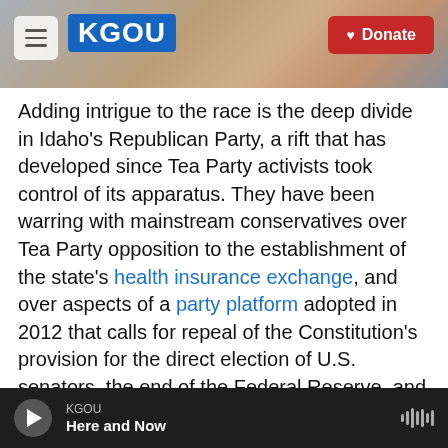KGOU | Donate
Adding intrigue to the race is the deep divide in Idaho's Republican Party, a rift that has developed since Tea Party activists took control of its apparatus. They have been warring with mainstream conservatives over Tea Party opposition to the establishment of the state's health insurance exchange, and over aspects of a party platform adopted in 2012 that calls for repeal of the Constitution's provision for the direct election of U.S. senators, the end of the Federal Reserve, and "sovereignty" for the state.
"We're a conservative state, and the Tea Party that
KGOU | Here and Now